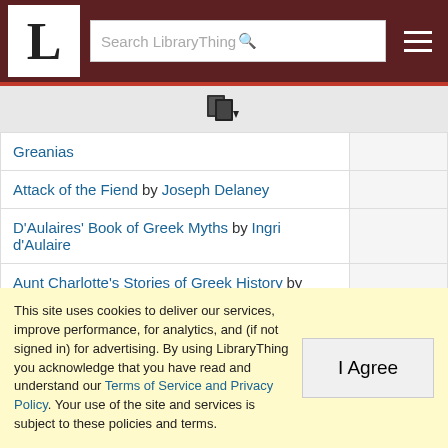LibraryThing — Search LibraryThing
| Book |  |
| --- | --- |
| Greanias |  |
| Attack of the Fiend by Joseph Delaney |  |
| D'Aulaires' Book of Greek Myths by Ingri d'Aulaire |  |
| Aunt Charlotte's Stories of Greek History by Charlotte M. Yonge |  |
| austrian post offices abroad; part eight; austrian lloyd, liechtenstein cyprus,egypt, palestine,syria-lebanon, asia minor by Keith Tranmer |  |
This site uses cookies to deliver our services, improve performance, for analytics, and (if not signed in) for advertising. By using LibraryThing you acknowledge that you have read and understand our Terms of Service and Privacy Policy. Your use of the site and services is subject to these policies and terms.